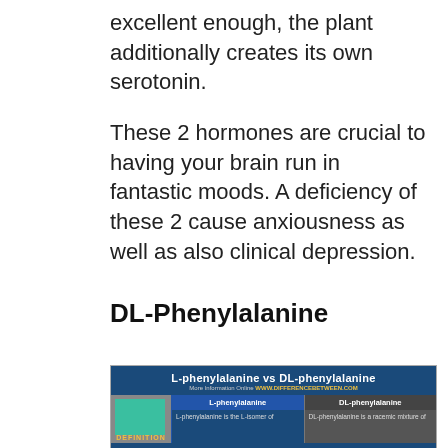excellent enough, the plant additionally creates its own serotonin.
These 2 hormones are crucial to having your brain run in fantastic moods. A deficiency of these 2 cause anxiousness as well as also clinical depression.
DL-Phenylalanine
[Figure (infographic): Infographic comparing L-phenylalanine vs DL-phenylalanine with definition row showing L-phenylalanine is the L-isomer and DL-phenylalanine is a racemic mixture. Source: www.differencebetween.com]